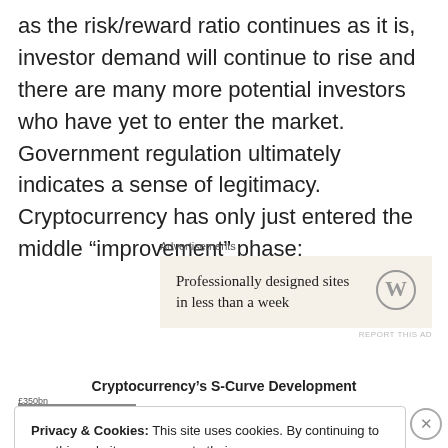as the risk/reward ratio continues as it is, investor demand will continue to rise and there are many more potential investors who have yet to enter the market. Government regulation ultimately indicates a sense of legitimacy. Cryptocurrency has only just entered the middle “improvement” phase:
[Figure (screenshot): WordPress advertisement banner: 'Professionally designed sites in less than a week' with WordPress logo on beige background. Labeled 'Advertisements' above.]
Cryptocurrency’s S-Curve Development
[Figure (screenshot): Cookie consent banner: 'Privacy & Cookies: This site uses cookies. By continuing to use this website, you agree to their use. To find out more, including how to control cookies, see here: Cookie Policy' with a 'Close and accept' button.]